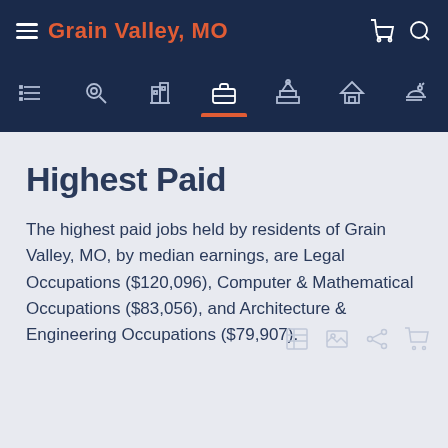Grain Valley, MO
Highest Paid
The highest paid jobs held by residents of Grain Valley, MO, by median earnings, are Legal Occupations ($120,096), Computer & Mathematical Occupations ($83,056), and Architecture & Engineering Occupations ($79,907).